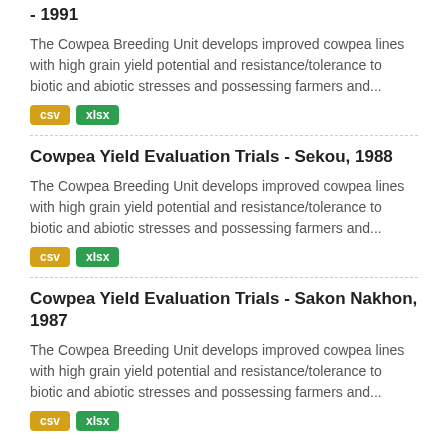- 1991
The Cowpea Breeding Unit develops improved cowpea lines with high grain yield potential and resistance/tolerance to biotic and abiotic stresses and possessing farmers and...
csv xlsx
Cowpea Yield Evaluation Trials - Sekou, 1988
The Cowpea Breeding Unit develops improved cowpea lines with high grain yield potential and resistance/tolerance to biotic and abiotic stresses and possessing farmers and...
csv xlsx
Cowpea Yield Evaluation Trials - Sakon Nakhon, 1987
The Cowpea Breeding Unit develops improved cowpea lines with high grain yield potential and resistance/tolerance to biotic and abiotic stresses and possessing farmers and...
csv xlsx